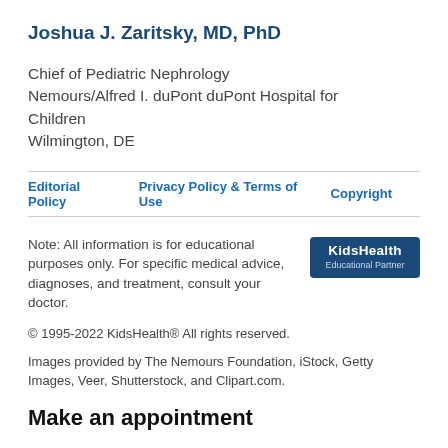Joshua J. Zaritsky, MD, PhD
Chief of Pediatric Nephrology
Nemours/Alfred I. duPont duPont Hospital for Children
Wilmington, DE
Editorial Policy   Privacy Policy & Terms of Use   Copyright
Note: All information is for educational purposes only. For specific medical advice, diagnoses, and treatment, consult your doctor.
[Figure (logo): KidsHealth Educational Partner logo — dark blue rounded rectangle with white bold text 'KidsHealth' and smaller text 'Educational Partner']
© 1995-2022 KidsHealth® All rights reserved.
Images provided by The Nemours Foundation, iStock, Getty Images, Veer, Shutterstock, and Clipart.com.
Make an appointment